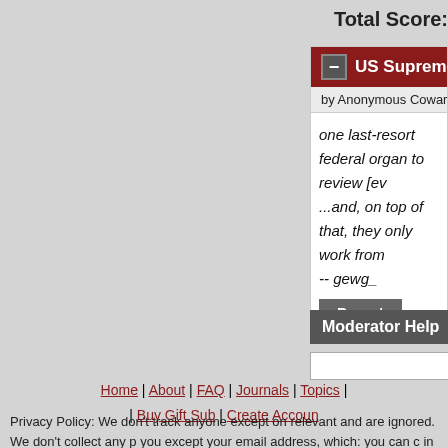Total Score:
US Supreme Court (Score: 0)
by Anonymous Coward on Saturday September 13
one last-resort federal organ to review [ev ...and, on top of that, they only work from -- gewg_
Parent
Moderator Help
Search
Home | About | FAQ | Journals | Topics | | Buy Gift Sub | Create Account
Privacy Policy: We don't track anyone except on relevant and are ignored. We don't collect any p you except your email address, which: you can c in the first place, is only used to contact you if n with nobody.